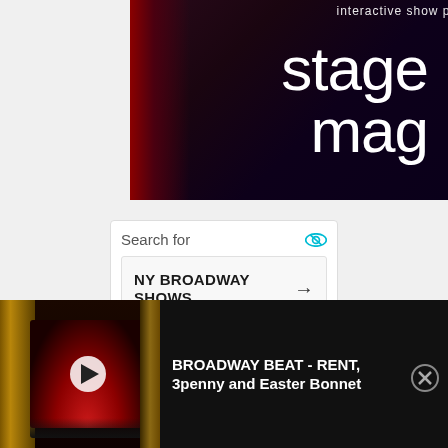[Figure (screenshot): StageMag logo/banner with dark theatrical background showing 'stage mag' in large white text with red curtain accent on left side]
[Figure (screenshot): Search widget showing 'Search for' header with eye icon, and a search result item 'NY BROADWAY SHOWS' with arrow, and partially visible 'CURRENT' item below]
[Figure (screenshot): Video bar at bottom showing theatre stage thumbnail with play button, and text 'BROADWAY BEAT - RENT, 3penny and Easter Bonnet' on dark background with X close button]